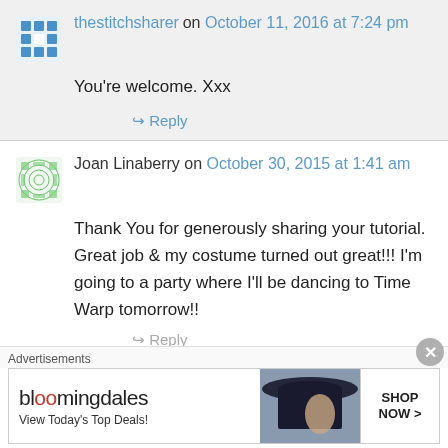thestitchsharer on October 11, 2016 at 7:24 pm
You're welcome. Xxx
↳ Reply
Joan Linaberry on October 30, 2015 at 1:41 am
Thank You for generously sharing your tutorial. Great job & my costume turned out great!!! I'm going to a party where I'll be dancing to Time Warp tomorrow!!
↳ Reply
Advertisements
[Figure (other): Bloomingdale's advertisement with View Today's Top Deals and SHOP NOW button]